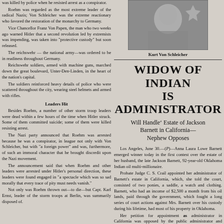was killed by police when he resisted arrest as a conspirator. Roehm was regarded as the most extreme leader of the radical Nazis; Von Schleicher was the extreme reactionary who favored the restoration of the monarchy to Germany. Vice Chancellor Franz Von Papen, the man who two weeks ago warned Hitler that a second revolution led by extremists was impending, was taken into "protective custody" but soon released. The reichswehr — the national army—was ordered to be in readiness throughout Germany. Reichswehr soldiers, armed with machine guns, marched down the great boulevard, Unter-Den-Linden, in the heart of the nation's capital. The soldiers reinforced heavy details of police who were scattered throughout the city, wearing steel helmets and armed with rifles.
Leaders Hit
Besides Roehm, a number of other storm troop leaders were dead within a few hours of the time when Hitler struck. Some of them committed suicide; some of them were killed resisting arrest. The Nazi party announced that Roehm was arrested because he was a conspirator, in league not only with Von Schleicher, but with "a foreign power" and was, furthermore, of such an immoral character that he brought discredit upon the Nazi movement. The announcement said that when Roehm and other leaders were arrested under Hitler's personal direction, these leaders were found engaged in "a spectacle which was so sad morally that every trace of pity must needs vanish." Not only was Roehm thrown out—to die—but Capt. Karl Ernst, leader of the storm troops at Berlin, was summarily disposed of.
[Figure (photo): Portrait photograph of Kurt Von Schleicher]
Kurt Von Schleicher
WIDOW OF INDIAN IS ADMINISTRATOR
Will Handle Estate of Jackson Barnett in California— Nephew Opposes
Los Angeles, June 30.—(P)—Anna Laura Lowe Barnett emerged winner today in the first contest over the estate of her husband, the late Jackson Barnett, 92-year-old Oklahoma Indian oil multi-millionaire. Probate Judge C. S. Crail appointed her administrator of Barnett's estate in California, which, she told the court, consisted of two ponies, a saddle, a watch and clothing. Barnett, who had an income of $2,500 a month from his oil lands, paid through the government, which fought a long series of court actions against Mrs. Barnett over his custody during his lifetime, had most of his property in Oklahoma. Her petition for appointment as administrator in California was opposed by the public administrator and Hubert Barnett, who claimed to